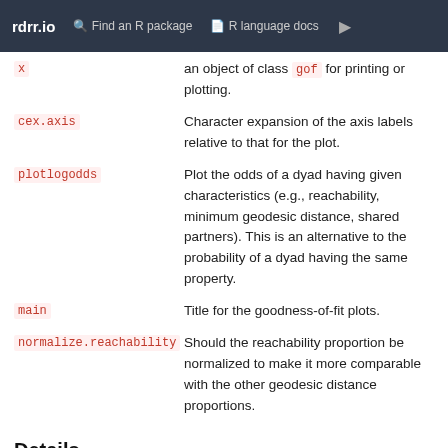rdrr.io   Find an R package   R language docs
x — an object of class gof for printing or plotting.
cex.axis — Character expansion of the axis labels relative to that for the plot.
plotlogodds — Plot the odds of a dyad having given characteristics (e.g., reachability, minimum geodesic distance, shared partners). This is an alternative to the probability of a dyad having the same property.
main — Title for the goodness-of-fit plots.
normalize.reachability — Should the reachability proportion be normalized to make it more comparable with the other geodesic distance proportions.
Details
A number of ordering...